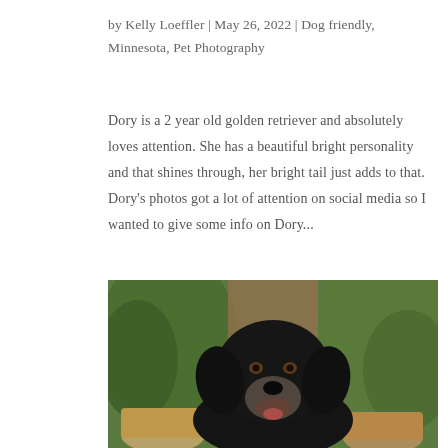by Kelly Loeffler | May 26, 2022 | Dog friendly, Minnesota, Pet Photography
Dory is a 2 year old golden retriever and absolutely loves attention. She has a beautiful bright personality and that shines through, her bright tail just adds to that. Dory's photos got a lot of attention on social media so I wanted to give some info on Dory...
[Figure (photo): Close-up portrait of a black dog (Dory) with brown eyes and a graying muzzle, surrounded by potted green plants in the background.]